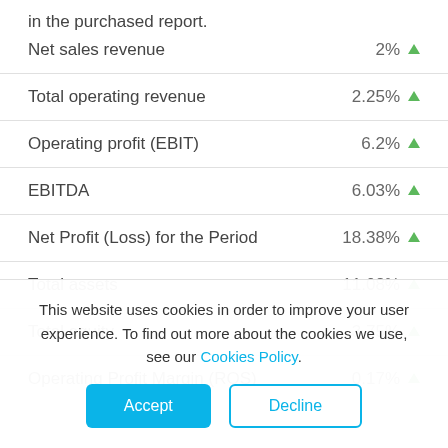in the purchased report.
| Metric | Change |
| --- | --- |
| Net sales revenue | 2% ▲ |
| Total operating revenue | 2.25% ▲ |
| Operating profit (EBIT) | 6.2% ▲ |
| EBITDA | 6.03% ▲ |
| Net Profit (Loss) for the Period | 18.38% ▲ |
| Total assets | 11.08% ▲ |
| Total equity | 3.75% ▲ |
| Operating Profit Margin (ROS) | 0.17% ▲ |
This website uses cookies in order to improve your user experience. To find out more about the cookies we use, see our Cookies Policy.